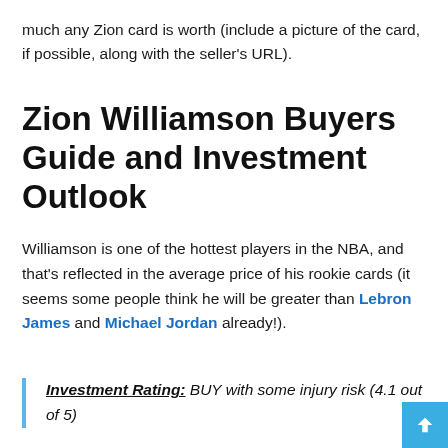much any Zion card is worth (include a picture of the card, if possible, along with the seller's URL).
Zion Williamson Buyers Guide and Investment Outlook
Williamson is one of the hottest players in the NBA, and that's reflected in the average price of his rookie cards (it seems some people think he will be greater than Lebron James and Michael Jordan already!).
Investment Rating: BUY with some injury risk (4.1 out of 5)